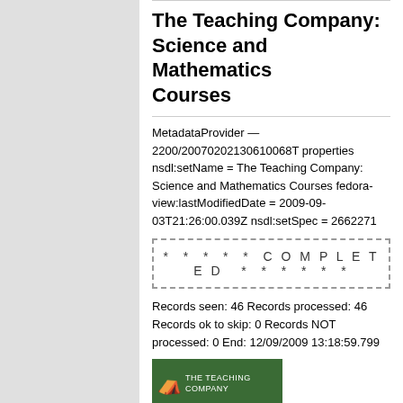The Teaching Company: Science and Mathematics Courses
MetadataProvider — 2200/20070202130610068T properties nsdl:setName = The Teaching Company: Science and Mathematics Courses fedora-view:lastModifiedDate = 2009-09-03T21:26:00.039Z nsdl:setSpec = 2662271
* * * * * C O M P L E T E D * * * * * *
Records seen: 46 Records processed: 46 Records ok to skip: 0 Records NOT processed: 0 End: 12/09/2009 13:18:59.799
[Figure (logo): The Teaching Company logo — green background with tree icon and white text]
server9.nsdl.org:/server9disk0/ingest/2662271
Updated in NCS
Blackwell Synergy